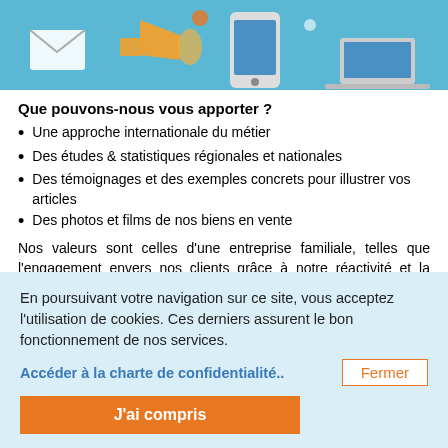[Figure (illustration): Decorative illustration with communication icons on a blue background — envelopes, megaphone, smartphone, laptop, on a light blue background.]
Que pouvons-nous vous apporter ?
Une approche internationale du métier
Des études & statistiques régionales et nationales
Des témoignages et des exemples concrets pour illustrer vos articles
Des photos et films de nos biens en vente
Nos valeurs sont celles d'une entreprise familiale, telles que l'engagement envers nos clients grâce à notre réactivité et la qualité de nos services ; la confiance et le développement des compétences de nos
En poursuivant votre navigation sur ce site, vous acceptez l'utilisation de cookies. Ces derniers assurent le bon fonctionnement de nos services.
Accéder à la charte de confidentialité..
Fermer
J'ai compris